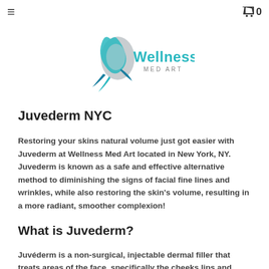≡  🛒 0
[Figure (logo): Wellness Med Art logo — stylized face/droplet with teal leaf accents, text reads 'Wellness MED ART']
Juvederm NYC
Restoring your skins natural volume just got easier with Juvederm at Wellness Med Art located in New York, NY. Juvederm is known as a safe and effective alternative method to diminishing the signs of facial fine lines and wrinkles, while also restoring the skin's volume, resulting in a more radiant, smoother complexion!
What is Juvederm?
Juvéderm is a non-surgical, injectable dermal filler that treats areas of the face, specifically the cheeks lips and areas